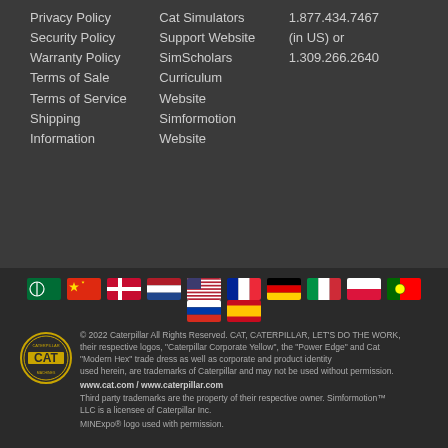Privacy Policy
Security Policy
Warranty Policy
Terms of Sale
Terms of Service
Shipping Information
Cat Simulators Support Website
SimScholars Curriculum Website
Simformotion Website
1.877.434.7467 (in US) or 1.309.266.2640
[Figure (illustration): Row of country flags: Saudi Arabia, China, Denmark, Netherlands, USA, France, Germany, Italy, Poland, Portugal, Russia, Spain]
[Figure (logo): Caterpillar CAT circular logo badge in gold and black]
© 2022 Caterpillar All Rights Reserved. CAT, CATERPILLAR, LET'S DO THE WORK, their respective logos, "Caterpillar Corporate Yellow", the "Power Edge" and Cat "Modern Hex" trade dress as well as corporate and product identity used herein, are trademarks of Caterpillar and may not be used without permission. www.cat.com / www.caterpillar.com Third party trademarks are the property of their respective owner. Simformotion™ LLC is a licensee of Caterpillar Inc. MINExpo® logo used with permission.